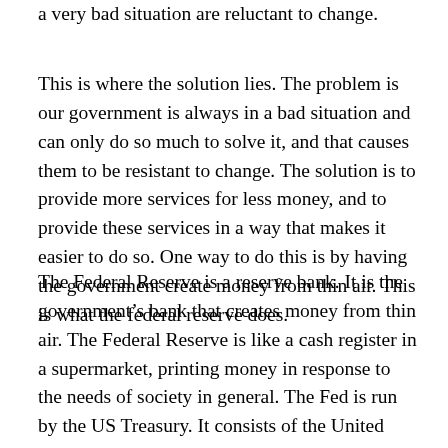a very bad situation are reluctant to change.
This is where the solution lies. The problem is our government is always in a bad situation and can only do so much to solve it, and that causes them to be resistant to change. The solution is to provide more services for less money, and to provide these services in a way that makes it easier to do so. One way to do this is by having the government create money from thin air. This is what the federal reserve does.
The Federal Reserve is a reserve bank. It is the government’s bank that creates money from thin air. The Federal Reserve is like a cash register in a supermarket, printing money in response to the needs of society in general. The Fed is run by the US Treasury. It consists of the United States Federal Reserve Bank and the Federal Reserve Bank of New York.